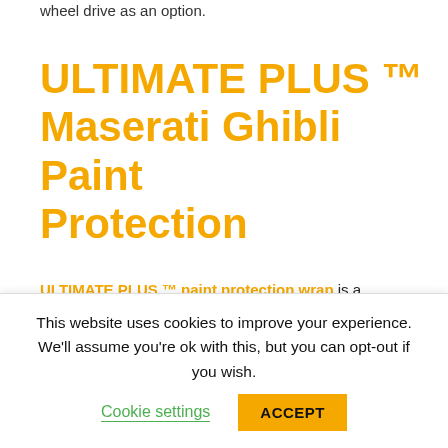wheel drive as an option.
ULTIMATE PLUS ™ Maserati Ghibli Paint Protection
ULTIMATE PLUS ™ paint protection wrap is a transparent, durable film developed to protect surfaces against scratch marks, paint chips, and corrosion brought on by environmental
This website uses cookies to improve your experience. We'll assume you're ok with this, but you can opt-out if you wish. Cookie settings ACCEPT